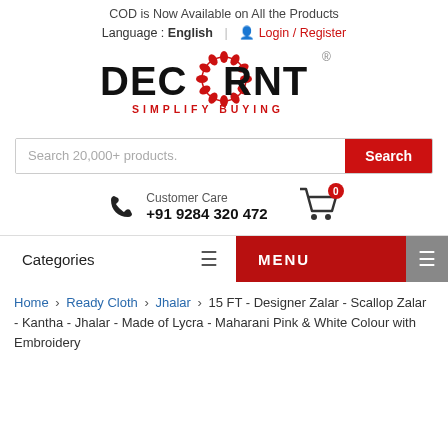COD is Now Available on All the Products
Language : English  |  Login / Register
[Figure (logo): DECORNT logo with red decorative wreath and tagline SIMPLIFY BUYING]
Search 20,000+ products.  [Search button]
Customer Care  +91 9284 320 472  [cart icon with 0]
Categories  ≡  |  MENU  ≡
Home > Ready Cloth > Jhalar > 15 FT - Designer Zalar - Scallop Zalar - Kantha - Jhalar - Made of Lycra - Maharani Pink & White Colour with Embroidery